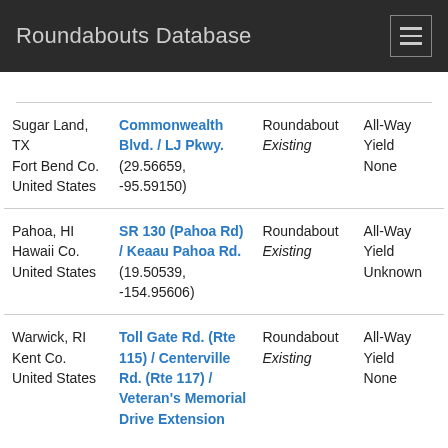Roundabouts Database
| Location | Intersection | Type / Status | Control |
| --- | --- | --- | --- |
| Sugar Land, TX
Fort Bend Co.
United States | Commonwealth Blvd. / LJ Pkwy.
(29.56659, -95.59150) | Roundabout
Existing | All-Way
Yield
None |
| Pahoa, HI
Hawaii Co.
United States | SR 130 (Pahoa Rd) / Keaau Pahoa Rd.
(19.50539, -154.95606) | Roundabout
Existing | All-Way
Yield
Unknown |
| Warwick, RI
Kent Co.
United States | Toll Gate Rd. (Rte 115) / Centerville Rd. (Rte 117) / Veteran's Memorial Drive Extension | Roundabout
Existing | All-Way
Yield
None |